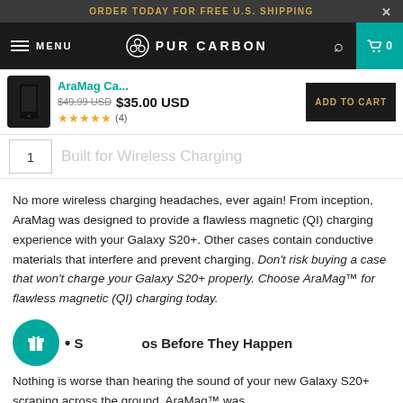ORDER TODAY FOR FREE U.S. SHIPPING
MENU  PUR CARBON  0
[Figure (screenshot): AraMag Ca... product thumbnail, black phone case]
AraMag Ca... $49.99 USD $35.00 USD  ★★★★★ (4)  ADD TO CART
1   Built for Wireless Charging
No more wireless charging headaches, ever again! From inception, AraMag was designed to provide a flawless magnetic (QI) charging experience with your Galaxy S20+. Other cases contain conductive materials that interfere and prevent charging. Don't risk buying a case that won't charge your Galaxy S20+ properly. Choose AraMag™ for flawless magnetic (QI) charging today.
• S...os Before They Happen
Nothing is worse than hearing the sound of your new Galaxy S20+ scraping across the ground. AraMag™ was